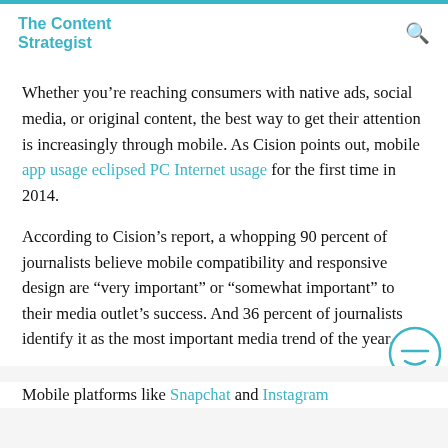The Content Strategist
Whether you’re reaching consumers with native ads, social media, or original content, the best way to get their attention is increasingly through mobile. As Cision points out, mobile app usage eclipsed PC Internet usage for the first time in 2014.
According to Cision’s report, a whopping 90 percent of journalists believe mobile compatibility and responsive design are “very important” or “somewhat important” to their media outlet’s success. And 36 percent of journalists identify it as the most important media trend of the year.
Mobile platforms like Snapchat and Instagram